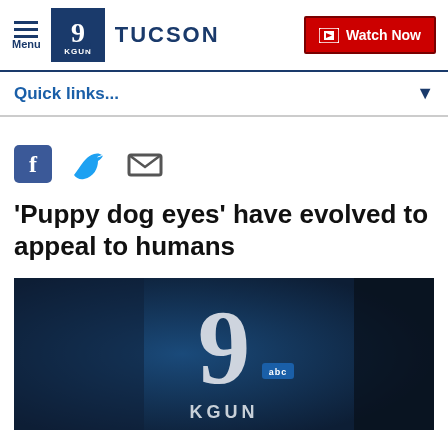Menu | 9 KGUN TUCSON | Watch Now
Quick links...
[Figure (infographic): Social media share icons: Facebook (blue F), Twitter (blue bird), Email (grey envelope)]
'Puppy dog eyes' have evolved to appeal to humans
[Figure (screenshot): KGUN 9 ABC Tucson news station logo on dark blue background, showing large '9' numeral with 'abc' badge and 'KGUN' text below]